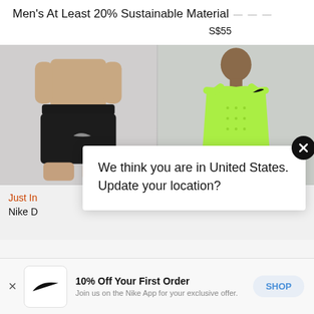Men's At Least 20% Sustainable Material
S$55
[Figure (photo): Man wearing black athletic shorts against light grey background]
[Figure (photo): Man wearing bright green/lime athletic tank top against light grey background]
Just In
Nike D
We think you are in United States. Update your location?
10% Off Your First Order
Join us on the Nike App for your exclusive offer.
SHOP